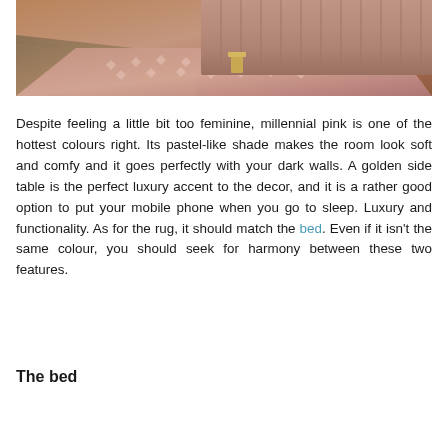[Figure (photo): A bedroom scene showing a pink/blush rug with a pattern on a herringbone wood floor, with a terracotta/salmon colored tufted headboard visible in the background and a small golden side table.]
Despite feeling a little bit too feminine, millennial pink is one of the hottest colours right. Its pastel-like shade makes the room look soft and comfy and it goes perfectly with your dark walls. A golden side table is the perfect luxury accent to the decor, and it is a rather good option to put your mobile phone when you go to sleep. Luxury and functionality. As for the rug, it should match the bed. Even if it isn't the same colour, you should seek for harmony between these two features.
The bed